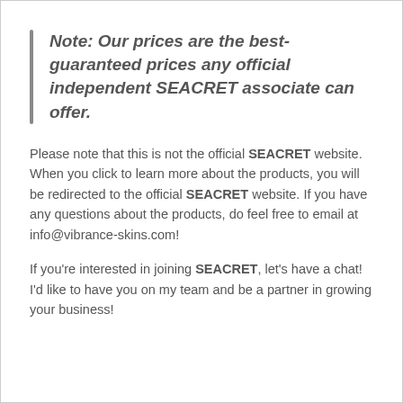Note: Our prices are the best-guaranteed prices any official independent SEACRET associate can offer.
Please note that this is not the official SEACRET website. When you click to learn more about the products, you will be redirected to the official SEACRET website. If you have any questions about the products, do feel free to email at info@vibrance-skins.com!
If you're interested in joining SEACRET, let's have a chat! I'd like to have you on my team and be a partner in growing your business!